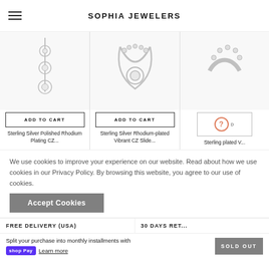SOPHIA JEWELERS
[Figure (photo): Three jewelry product images: sterling silver drop earring with CZ stones, sterling silver rhodium-plated vibrant CZ slide pendant, and partial view of a third sterling silver rhodium-plated piece]
ADD TO CART
ADD TO CART
Sterling Silver Polished Rhodium Plating CZ...
Sterling Silver Rhodium-plated Vibrant CZ Slide...
Sterling plated V...
We use cookies to improve your experience on our website. Read about how we use cookies in our Privacy Policy. By browsing this website, you agree to our use of cookies.
Accept Cookies
FREE DELIVERY (USA)
30 DAYS RET...
Split your purchase into monthly installments with shop Pay Learn more
SOLD OUT